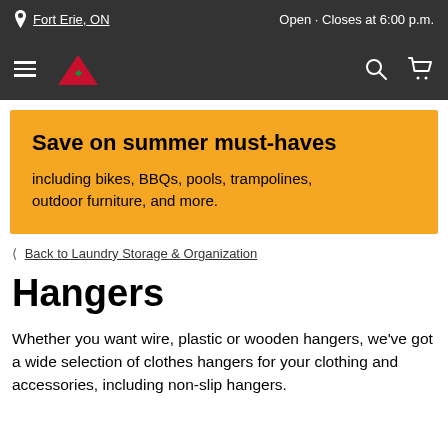Fort Erie, ON  Open · Closes at 6:00 p.m.
[Figure (logo): Canadian Tire logo with red maple leaf and red chevron on dark background, with hamburger menu, search icon, and cart icon]
[Figure (infographic): Orange banner: Save on summer must-haves including bikes, BBQs, pools, trampolines, outdoor furniture, and more.]
< Back to Laundry Storage & Organization
Hangers
Whether you want wire, plastic or wooden hangers, we've got a wide selection of clothes hangers for your clothing and accessories, including non-slip hangers.